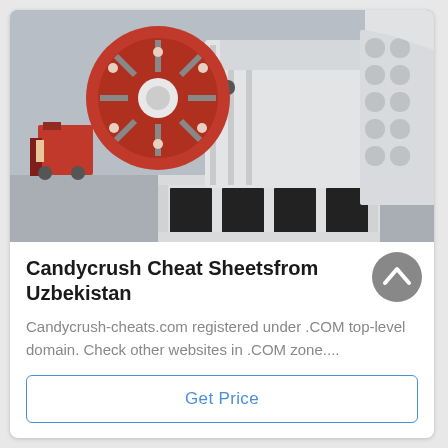[Figure (photo): Industrial jaw crusher machine, white/cream colored heavy equipment with a large red flywheel on the left side, photographed in a warehouse/factory setting with a forklift visible in background. Another crusher visible on the right.]
Candycrush Cheat Sheetsfrom Uzbekistan
Candycrush-cheats.com registered under .COM top-level domain. Check other websites in .COM zone....